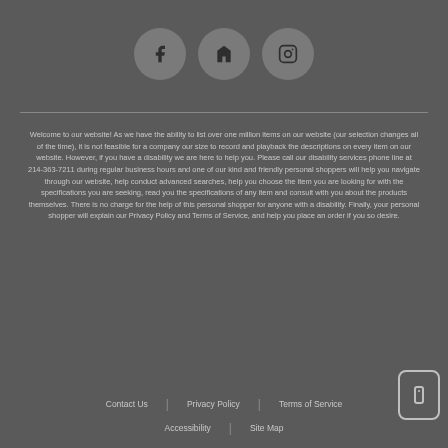[Figure (other): Three social media icon circles: Facebook (f), Houzz (h), Instagram (camera)]
Welcome to our website! As we have the ability to list over one million items on our website (our selection changes all of the time), it is not feasible for a company our size to record and playback the descriptions on every item on our website. However, if you have a disability we are here to help you. Please call our disability services phone line at 214-363-7211 during regular business hours and one of our kind and friendly personal shoppers will help you navigate through our website, help conduct advanced searches, help you choose the item you are looking for with the specifications you are seeking, read you the specifications of any item and consult with you about the products themselves. There is no charge for the help of this personal shopper for anyone with a disability. Finally, your personal shopper will explain our Privacy Policy and Terms of Service, and help you place an order if you so desire.
Contact Us | Privacy Policy | Terms of Service | Accessibility | Site Map